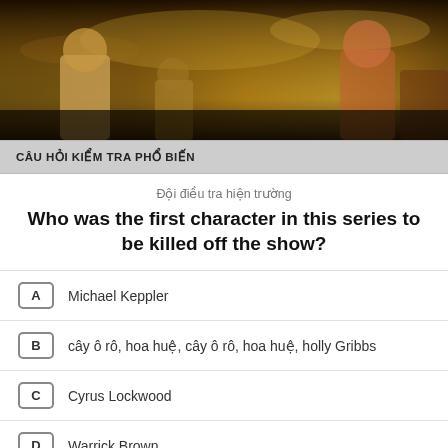[Figure (photo): Hero banner image showing fantasy/action movie characters against a dramatic sky background]
CÂU HỎI KIỂM TRA PHỔ BIẾN
Đội điều tra hiện trường
Who was the first character in this series to be killed off the show?
A  Michael Keppler
B  cây ô rô, hoa huệ, cây ô rô, hoa huệ, holly Gribbs
C  Cyrus Lockwood
D  Warrick Brown
bỏ qua câu hỏi
CÁC CÂU LẠC BỘ LIÊN QUAN
[Figure (photo): Three related club thumbnail images showing TV show covers]